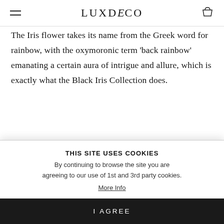LUXDECO
The Iris flower takes its name from the Greek word for rainbow, with the oxymoronic term 'back rainbow' emanating a certain aura of intrigue and allure, which is exactly what the Black Iris Collection does.
ENDLESSLY INSPIRED
With an unrivalled artistic eye that was first
LEARN MORE
THIS SITE USES COOKIES
By continuing to browse the site you are agreeing to our use of 1st and 3rd party cookies.
More Info
I AGREE